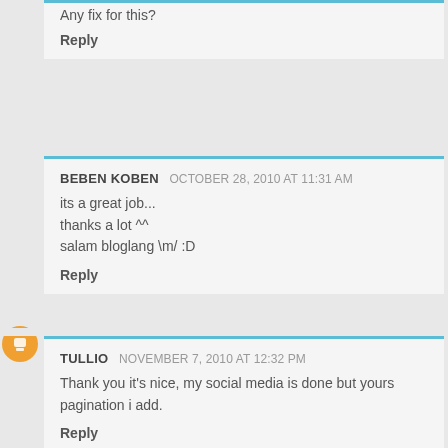Any fix for this?
Reply
BEBEN KOBEN  OCTOBER 28, 2010 AT 11:31 AM
its a great job...
thanks a lot ^^
salam bloglang \m/ :D
Reply
TULLIO  NOVEMBER 7, 2010 AT 12:32 PM
Thank you it's nice, my social media is done but yours pagination i add.
Reply
LORI  NOVEMBER 12, 2010 AT 10:12 PM
Signup & active:
1.activated my mail